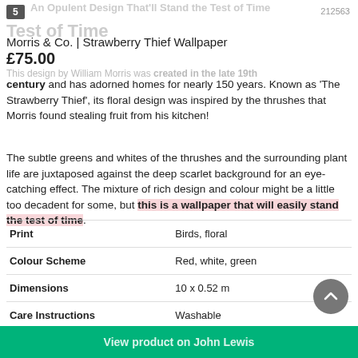An Opulent Design That'll Stand the Test of Time | 212563
Morris & Co. | Strawberry Thief Wallpaper
£75.00
This design by William Morris was created in the late 19th century and has adorned homes for nearly 150 years. Known as 'The Strawberry Thief', its floral design was inspired by the thrushes that Morris found stealing fruit from his kitchen!
The subtle greens and whites of the thrushes and the surrounding plant life are juxtaposed against the deep scarlet background for an eye-catching effect. The mixture of rich design and colour might be a little too decadent for some, but this is a wallpaper that will easily stand the test of time.
| Property | Value |
| --- | --- |
| Print | Birds, floral |
| Colour Scheme | Red, white, green |
| Dimensions | 10 x 0.52 m |
| Care Instructions | Washable |
| Lightfastness Rating | - |
| Application Method | Paste the wall |
View product on John Lewis